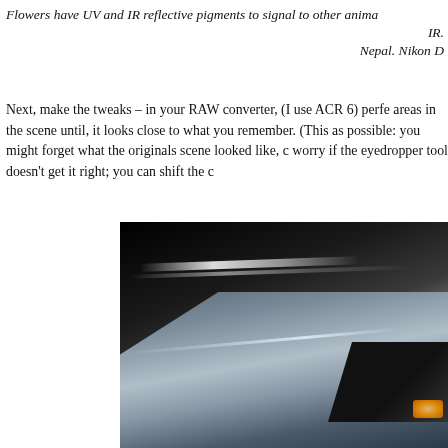Flowers have UV and IR reflective pigments to signal to other anima… IR. Nepal. Nikon D…
Next, make the tweaks – in your RAW converter, (I use ACR 6) perfe… areas in the scene until, it looks close to what you remember. (This as possible: you might forget what the originals scene looked like, c… worry if the eyedropper tool doesn't get it right; you can shift the c…
[Figure (photo): Close-up photograph of a dark car roof and body panel with silver/grey metallic finish, black roof, amber light visible at lower right, dark background.]